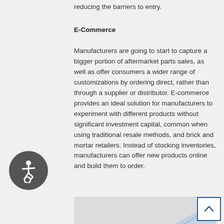reducing the barriers to entry.
E-Commerce
Manufacturers are going to start to capture a bigger portion of aftermarket parts sales, as well as offer consumers a wider range of customizations by ordering direct, rather than through a supplier or distributor. E-commerce provides an ideal solution for manufacturers to experiment with different products without significant investment capital, common when using traditional resale methods, and brick and mortar retailers. Instead of stocking inventories, manufacturers can offer new products online and build them to order.
[Figure (illustration): Partial view of what appears to be a paper airplane or origami shape in the bottom right corner]
[Figure (illustration): Accessibility icon button - circular dark grey button with wheelchair accessibility symbol]